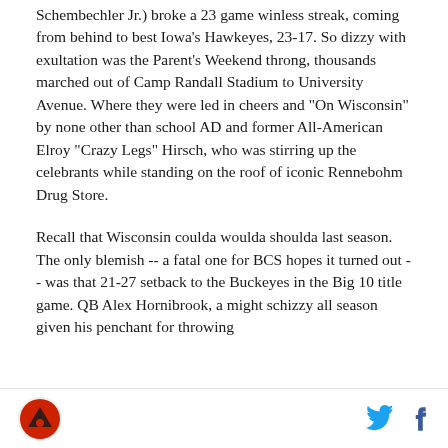Schembechler Jr.) broke a 23 game winless streak, coming from behind to best Iowa's Hawkeyes, 23-17. So dizzy with exultation was the Parent's Weekend throng, thousands marched out of Camp Randall Stadium to University Avenue. Where they were led in cheers and "On Wisconsin" by none other than school AD and former All-American Elroy "Crazy Legs" Hirsch, who was stirring up the celebrants while standing on the roof of iconic Rennebohm Drug Store.
Recall that Wisconsin coulda woulda shoulda last season. The only blemish -- a fatal one for BCS hopes it turned out -- was that 21-27 setback to the Buckeyes in the Big 10 title game. QB Alex Hornibrook, a might schizzy all season given his penchant for throwing
Logo and social icons